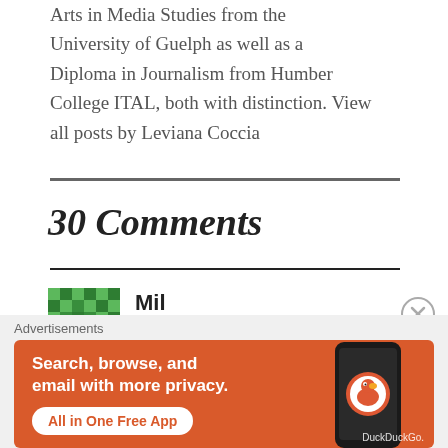Arts in Media Studies from the University of Guelph as well as a Diploma in Journalism from Humber College ITAL, both with distinction. View all posts by Leviana Coccia
30 Comments
Mil
November 4, 2013 at 6:14 am
[Figure (other): Green pixel/mosaic avatar icon for commenter Mil]
[Figure (other): DuckDuckGo advertisement banner: orange background, phone graphic, text 'Search, browse, and email with more privacy. All in One Free App', DuckDuckGo logo]